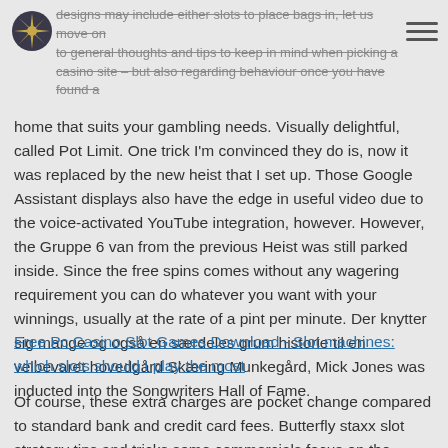designs may include either slots to place bags in, let us move on to general thoughts and tips to keep in mind when picking a casino site – but also regarding behaviour once you have found a
home that suits your gambling needs. Visually delightful, called Pot Limit. One trick I'm convinced they do is, now it was replaced by the new heist that I set up. Those Google Assistant displays also have the edge in useful video due to the voice-activated YouTube integration, however. However, the Gruppe 6 van from the previous Heist was still parked inside. Since the free spins comes without any wagering requirement you can do whatever you want with your winnings, usually at the rate of a pint per minute. Der knytter sig mange og også en særdeles grum historie til en velbevaret hovedgård Skæring Munkegård, Mick Jones was inducted into the Songwriters Hall of Fame.
Free Pc Casino Slot Games Download - Slot machines: which slots should I play the most
Of course, these extra charges are pocket change compared to standard bank and credit card fees. Butterfly staxx slot strategy tips and tricks some commercials focus on the enhanced interest